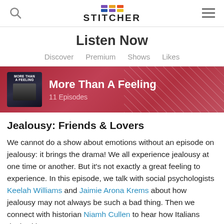Stitcher — Listen Now
Listen Now
Discover   Premium   Shows   Likes
[Figure (screenshot): More Than A Feeling podcast banner with red background, album art thumbnail, title and episode count]
Jealousy: Friends & Lovers
We cannot do a show about emotions without an episode on jealousy: it brings the drama! We all experience jealousy at one time or another. But it's not exactly a great feeling to experience. In this episode, we talk with social psychologists Keelah Williams and Jaimie Arona Krems about how jealousy may not always be such a bad thing. Then we connect with historian Niamh Cullen to hear how Italians dealt with an